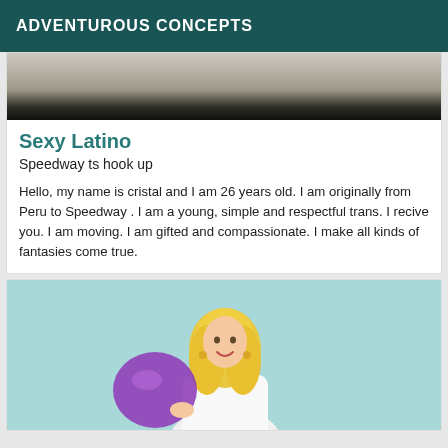ADVENTUROUS CONCEPTS
[Figure (photo): Top portion of a room photo showing walls, a door, and other interior elements in dark/dim lighting]
Sexy Latino
Speedway ts hook up
Hello, my name is cristal and I am 26 years old. I am originally from Peru to Speedway . I am a young, simple and respectful trans. I recive you. I am moving. I am gifted and compassionate. I make all kinds of fantasies come true.
[Figure (photo): A blonde woman smiling and holding a large purple balloon, wearing a white outfit, against a light teal/mint background]